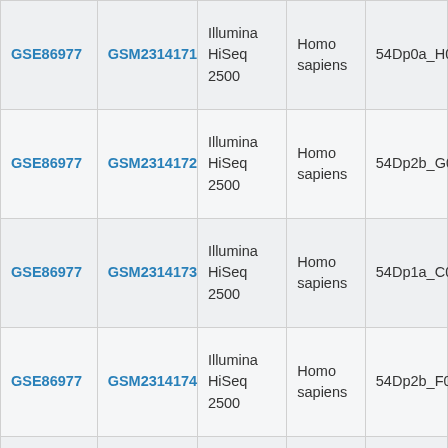| GSE ID | GSM ID | Platform | Organism | Sample |
| --- | --- | --- | --- | --- |
| GSE86977 | GSM2314171 | Illumina HiSeq 2500 | Homo sapiens | 54Dp0a_H0... |
| GSE86977 | GSM2314172 | Illumina HiSeq 2500 | Homo sapiens | 54Dp2b_G0... |
| GSE86977 | GSM2314173 | Illumina HiSeq 2500 | Homo sapiens | 54Dp1a_C0... |
| GSE86977 | GSM2314174 | Illumina HiSeq 2500 | Homo sapiens | 54Dp2b_F0... |
|  |  |  |  |  |